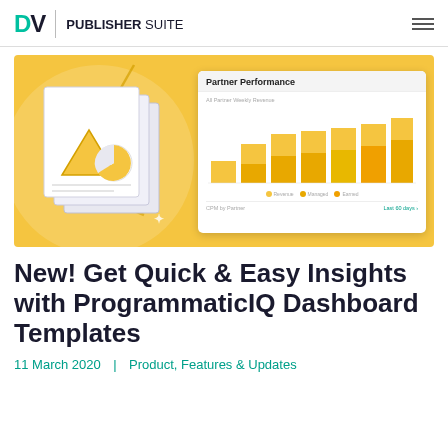DV | PUBLISHER SUITE
[Figure (screenshot): Hero image showing a yellow/gold background with a document illustration on the left and a 'Partner Performance' dashboard screenshot on the right showing a stacked bar chart with yellow/gold bars for 'All Partner Weekly Revenue' and a 'CPM by Partner' section below.]
New! Get Quick & Easy Insights with ProgrammaticIQ Dashboard Templates
11 March 2020  |  Product, Features & Updates